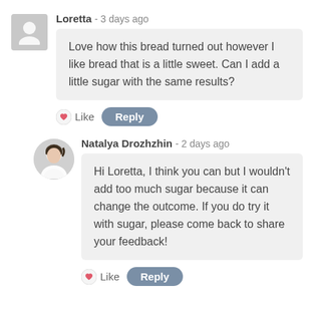Loretta - 3 days ago
Love how this bread turned out however I like bread that is a little sweet. Can I add a little sugar with the same results?
Like  Reply
Natalya Drozhzhin - 2 days ago
Hi Loretta, I think you can but I wouldn't add too much sugar because it can change the outcome. If you do try it with sugar, please come back to share your feedback!
Like  Reply